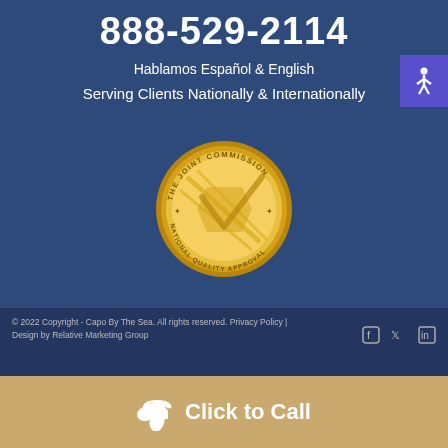888-529-2114
Hablamos Español & English
Serving Clients Nationally & Internationally
[Figure (illustration): Gold circular seal from The Joint Commission with text 'National Quality Approval']
© 2022 Copyright - Capo By The Sea. All rights reserved. Privacy Policy | Design by Relative Marketing Group
Click to Call